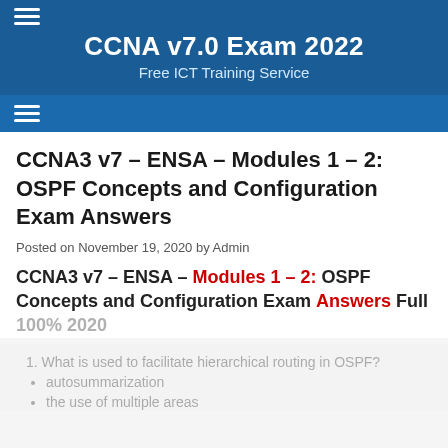CCNA v7.0 Exam 2022 — Free ICT Training Service
CCNA3 v7 – ENSA – Modules 1 – 2: OSPF Concepts and Configuration Exam Answers
Posted on November 19, 2020 by Admin
CCNA3 v7 – ENSA – Modules 1 – 2: OSPF Concepts and Configuration Exam Answers Full 100% 2020
1. What is used to facilitate hierarchical routing in OSPF?
autosummarization
the use of multiple areas